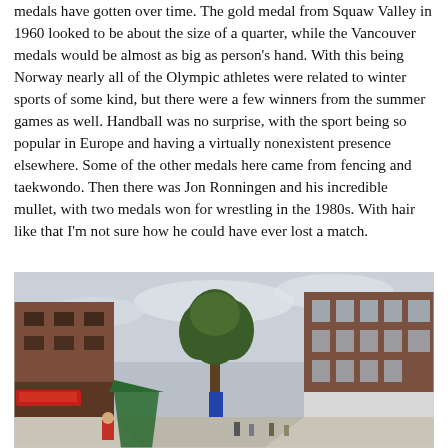medals have gotten over time. The gold medal from Squaw Valley in 1960 looked to be about the size of a quarter, while the Vancouver medals would be almost as big as person's hand. With this being Norway nearly all of the Olympic athletes were related to winter sports of some kind, but there were a few winners from the summer games as well. Handball was no surprise, with the sport being so popular in Europe and having a virtually nonexistent presence elsewhere. Some of the other medals here came from fencing and taekwondo. Then there was Jon Ronningen and his incredible mullet, with two medals won for wrestling in the 1980s. With hair like that I'm not sure how he could have ever lost a match.
[Figure (photo): A street scene in what appears to be a European (Norwegian) town. Brick buildings line both sides of a pedestrian street. A tall tree stands in the center background. A green umbrella or canopy is visible on the left side along with a person in a red shirt. Shopfronts visible on both sides with people walking. Cloudy sky above.]